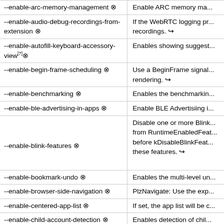| Flag | Description |
| --- | --- |
| --enable-arc-memory-management ⊗ | Enable ARC memory ma... |
| --enable-audio-debug-recordings-from-extension ⊗ | If the WebRTC logging pr... recordings. ↪ |
| --enable-autofill-keyboard-accessory-view[7]⊗ | Enables showing suggest... |
| --enable-begin-frame-scheduling ⊗ | Use a BeginFrame signa... rendering. ↪ |
| --enable-benchmarking ⊗ | Enables the benchmarkin... |
| --enable-ble-advertising-in-apps ⊗ | Enable BLE Advertisiing i... |
| --enable-blink-features ⊗ | Disable one or more Blink... from RuntimeEnabledFeat... before kDisableBlinkFeat... these features. ↪ |
| --enable-bookmark-undo ⊗ | Enables the multi-level un... |
| --enable-browser-side-navigation ⊗ | PlzNavigate: Use the exp... |
| --enable-centered-app-list ⊗ | If set, the app list will be c... |
| --enable-child-account-detection ⊗ | Enables detection of chil... |
| --enable-clear-browsing-data-... | Enables data volume co... |